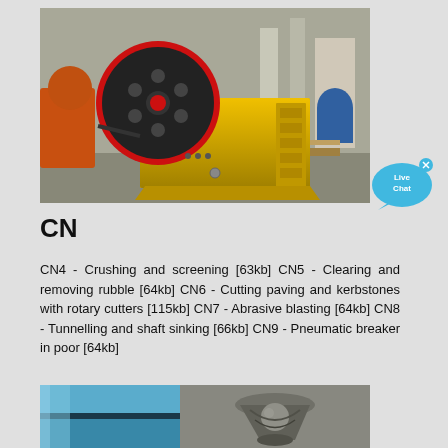[Figure (photo): Yellow jaw crusher machine with black and red flywheel, photographed in an industrial warehouse/factory setting]
[Figure (illustration): Live Chat button — cyan speech bubble with 'Live Chat' text and small x close button]
CN
CN4 - Crushing and screening [63kb] CN5 - Clearing and removing rubble [64kb] CN6 - Cutting paving and kerbstones with rotary cutters [115kb] CN7 - Abrasive blasting [64kb] CN8 - Tunnelling and shaft sinking [66kb] CN9 - Pneumatic breaker in poor [64kb]
[Figure (photo): Blue painted metal surface/plate with black stripe]
[Figure (photo): Close-up of grey concrete/stone crushing equipment showing cone crusher mechanism]